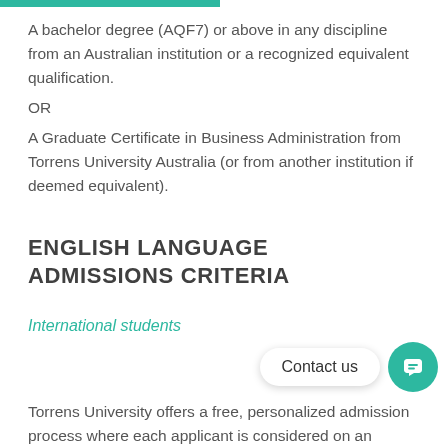A bachelor degree (AQF7) or above in any discipline from an Australian institution or a recognized equivalent qualification.
OR
A Graduate Certificate in Business Administration from Torrens University Australia (or from another institution if deemed equivalent).
ENGLISH LANGUAGE ADMISSIONS CRITERIA
International students
Torrens University offers a free, personalized admission process where each applicant is considered on an